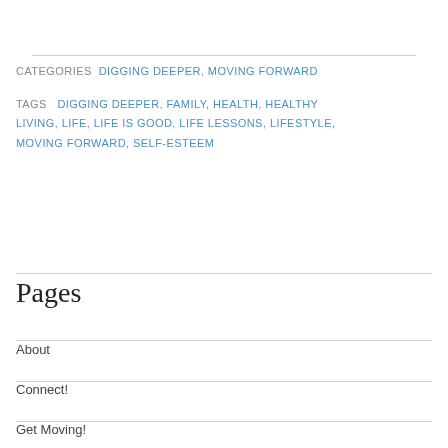CATEGORIES: DIGGING DEEPER, MOVING FORWARD
TAGS: DIGGING DEEPER, FAMILY, HEALTH, HEALTHY LIVING, LIFE, LIFE IS GOOD, LIFE LESSONS, LIFESTYLE, MOVING FORWARD, SELF-ESTEEM
Pages
About
Connect!
Get Moving!